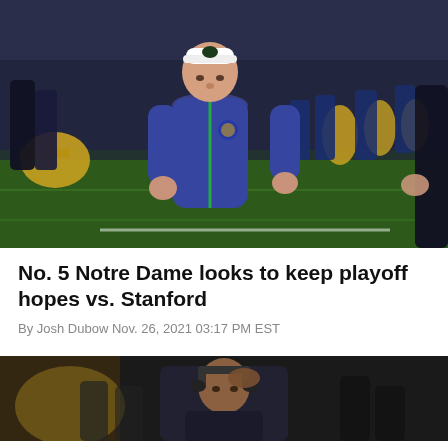[Figure (photo): Notre Dame football coach in navy blue puffer jacket with white visor walking on field with marching band in background at night game]
No. 5 Notre Dame looks to keep playoff hopes vs. Stanford
By Josh Dubow Nov. 26, 2021 03:17 PM EST
[Figure (photo): Football coach with headset looking upward with hand on helmet against dark background]